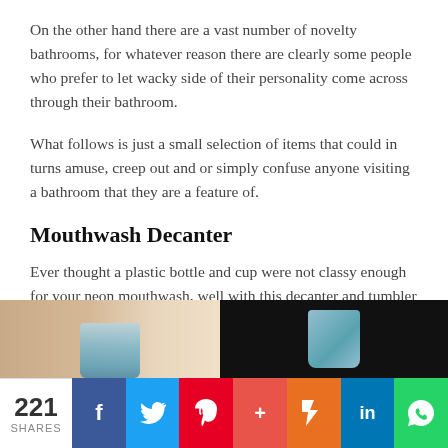On the other hand there are a vast number of novelty bathrooms, for whatever reason there are clearly some people who prefer to let wacky side of their personality come across through their bathroom.
What follows is just a small selection of items that could in turns amuse, creep out and or simply confuse anyone visiting a bathroom that they are a feature of.
Mouthwash Decanter
Ever thought a plastic bottle and cup were not classy enough for your neon mouthwash, well with this decanter and tumbler combo you never will again.
[Figure (photo): Two photos showing a glass tumbler/decanter for mouthwash — left image on light background, right image on dark background showing hand holding glass]
221 SHARES | Facebook | Twitter | Pinterest | Google+ | Flipboard | LinkedIn | WhatsApp